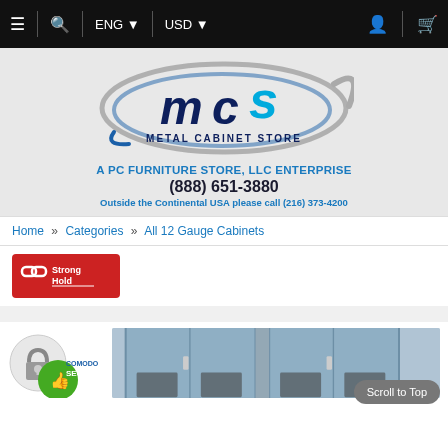≡ | 🔍 | ENG ▼ | USD ▼
[Figure (logo): MCS Metal Cabinet Store logo with swoosh design in dark blue and cyan]
A PC FURNITURE STORE, LLC ENTERPRISE
(888) 651-3880
Outside the Continental USA please call (216) 373-4200
Home » Categories » All 12 Gauge Cabinets
[Figure (logo): StrongHold brand logo on red background]
[Figure (logo): Comodo Secure badge with padlock icon]
[Figure (photo): Metal cabinet product photo showing gray steel double-door cabinet]